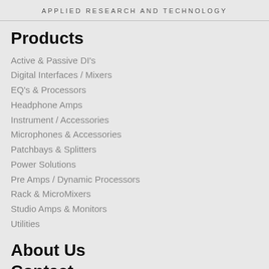APPLIED RESEARCH AND TECHNOLOGY
Products
Active & Passive DI's
Digital Interfaces / Mixers
EQ's & Processors
Headphone Amps
Instrument / Accessories
Microphones & Accessories
Patchbays & Splitters
Power Solutions
Pre Amps / Dynamic Processors
Rack & MicroMixers
Studio Amps & Monitors
Utilities
About Us
Contact
Support